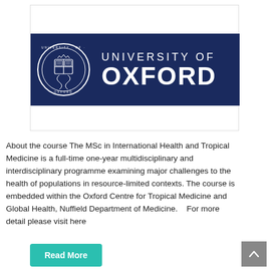[Figure (logo): University of Oxford logo — dark navy blue rectangle containing the Oxford coat of arms seal on the left and the text 'UNIVERSITY OF OXFORD' in white on the right, set within a white card with border.]
About the course The MSc in International Health and Tropical Medicine is a full-time one-year multidisciplinary and interdisciplinary programme examining major challenges to the health of populations in resource-limited contexts. The course is embedded within the Oxford Centre for Tropical Medicine and Global Health, Nuffield Department of Medicine.   For more detail please visit here
[Figure (other): Teal/green 'Read More' button]